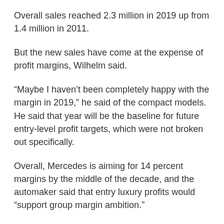Overall sales reached 2.3 million in 2019 up from 1.4 million in 2011.
But the new sales have come at the expense of profit margins, Wilhelm said.
“Maybe I haven’t been completely happy with the margin in 2019,” he said of the compact models. He said that year will be the baseline for future entry-level profit targets, which were not broken out specifically.
Overall, Mercedes is aiming for 14 percent margins by the middle of the decade, and the automaker said that entry luxury profits would “support group margin ambition.”
Profits for the company’s compact models improved in 2021 as Mercedes cut some trim lines and raised prices,